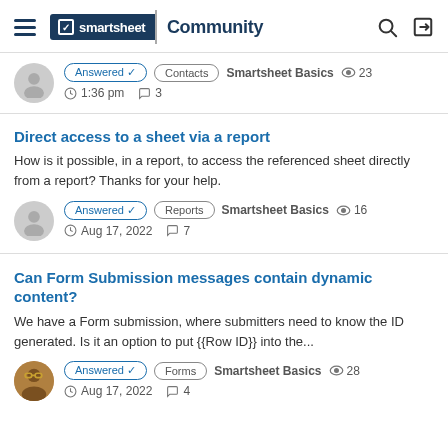smartsheet Community
Answered ✓  Contacts  Smartsheet Basics  23 views  1:36 pm  3 comments
Direct access to a sheet via a report
How is it possible, in a report, to access the referenced sheet directly from a report? Thanks for your help.
Answered ✓  Reports  Smartsheet Basics  16 views  Aug 17, 2022  7 comments
Can Form Submission messages contain dynamic content?
We have a Form submission, where submitters need to know the ID generated. Is it an option to put {{Row ID}} into the...
Answered ✓  Forms  Smartsheet Basics  28 views  Aug 17, 2022  4 comments